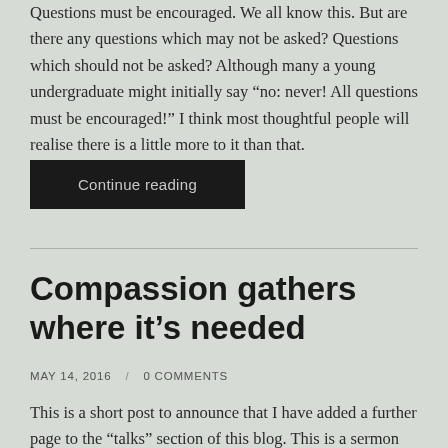Questions must be encouraged. We all know this. But are there any questions which may not be asked? Questions which should not be asked? Although many a young undergraduate might initially say “no: never! All questions must be encouraged!” I think most thoughtful people will realise there is a little more to it than that.
Continue reading
Compassion gathers where it’s needed
MAY 14, 2016    0 COMMENTS
This is a short post to announce that I have added a further page to the “talks” section of this blog. This is a sermon